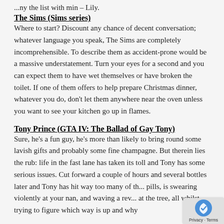...ny the list with min – Lily.
The Sims (Sims series)
Where to start? Discount any chance of decent conversation; whatever language you speak, The Sims are completely incomprehensible. To describe them as accident-prone would be a massive understatement. Turn your eyes for a second and you can expect them to have wet themselves or have broken the toilet. If one of them offers to help prepare Christmas dinner, whatever you do, don't let them anywhere near the oven unless you want to see your kitchen go up in flames.
Tony Prince (GTA IV: The Ballad of Gay Tony)
Sure, he's a fun guy, he's more than likely to bring round some lavish gifts and probably some fine champagne. But therein lies the rub: life in the fast lane has taken its toll and Tony has some serious issues. Cut forward a couple of hours and several bottles later and Tony has hit way too many of the pills, is swearing violently at your nan, and waving a rev... at the tree, all whilst trying to figure which way is up and why